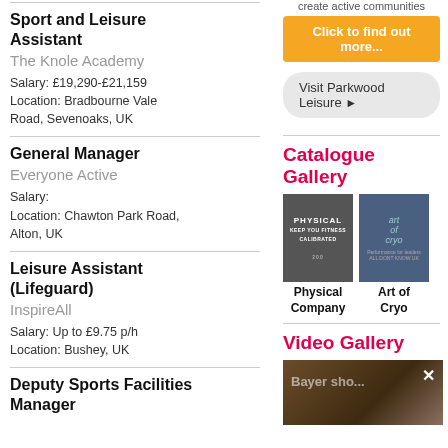Sport and Leisure Assistant
The Knole Academy
Salary: £19,290-£21,159
Location: Bradbourne Vale Road, Sevenoaks, UK
General Manager
Everyone Active
Salary:
Location: Chawton Park Road, Alton, UK
Leisure Assistant (Lifeguard)
InspireAll
Salary: Up to £9.75 p/h
Location: Bushey, UK
Deputy Sports Facilities Manager
create active communities
Click to find out more...
Visit Parkwood Leisure ▶
Catalogue Gallery
[Figure (illustration): Physical Company catalogue cover – dark grey background with 'PHYSICAL' text]
Physical Company
[Figure (illustration): Art of Cryo catalogue cover – blue toned architectural image]
Art of Cryo
Video Gallery
[Figure (screenshot): Video thumbnail with dark brown/sand background and 'Bayer sho...' overlay text with X close button]